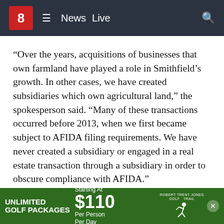[Figure (screenshot): News website navigation bar with channel 8 logo (red square), hamburger menu, 'News' and 'Live' links, and search icon on dark background]
“Over the years, acquisitions of businesses that own farmland have played a role in Smithfield’s growth. In other cases, we have created subsidiaries which own agricultural land,” the spokesperson said. “Many of these transactions occurred before 2013, when we first became subject to AFIDA filing requirements. We have never created a subsidiary or engaged in a real estate transaction through a subsidiary in order to obscure compliance with AFIDA.”
Smithfield also noted it’s not an uncommon practice in the industry to have a “collection of entities.”
The reason for LLCs, according to Ashwood, makes sense for larg… [continues below ad]
[Figure (screenshot): Advertisement banner: Unlimited Golf Packages Starting At $110 Per Person Per Day, Robert Trent Jones Golf Trail logo]